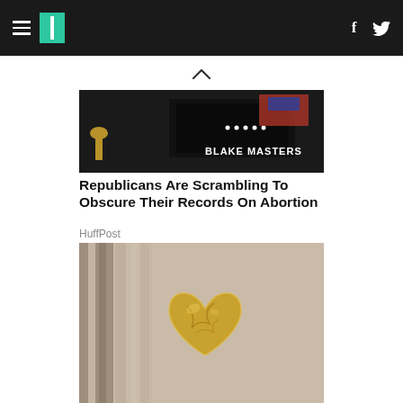HuffPost navigation header with hamburger menu, logo, Facebook and Twitter icons
[Figure (photo): Photo of Blake Masters campaign signage with people in background at a political event]
Republicans Are Scrambling To Obscure Their Records On Abortion
HuffPost
[Figure (photo): Close-up photo of an ornate golden heart-shaped door knocker on a beige door]